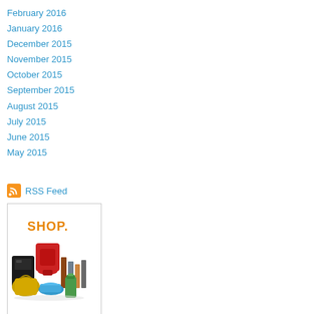February 2016
January 2016
December 2015
November 2015
October 2015
September 2015
August 2015
July 2015
June 2015
May 2015
RSS Feed
[Figure (illustration): Shop advertisement banner with text SHOP. and images of various products including gaming console, kitchen appliances, shoes, and other items]